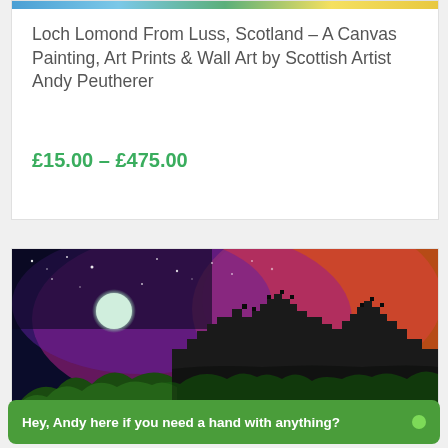[Figure (photo): Thin colored strip at top of product card showing Loch Lomond painting edge]
Loch Lomond From Luss, Scotland – A Canvas Painting, Art Prints & Wall Art by Scottish Artist Andy Peutherer
£15.00 – £475.00
[Figure (photo): Edinburgh Castle at dusk painting showing dark silhouette of castle on rock with dramatic purple, pink and orange sunset sky, full moon visible, stars scattered across the sky]
Edinburgh Castle Dusk, Scotland –
Hey, Andy here if you need a hand with anything?